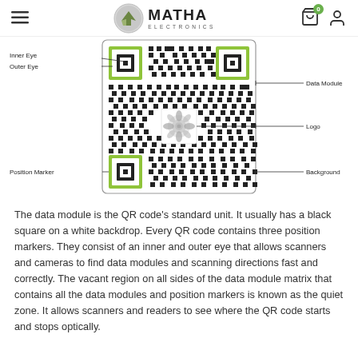MATHA ELECTRONICS
[Figure (illustration): Annotated QR code diagram showing Inner Eye, Outer Eye, Data Module, Logo, Position Marker, and Background labels with lines pointing to respective parts of the QR code.]
The data module is the QR code's standard unit. It usually has a black square on a white backdrop. Every QR code contains three position markers. They consist of an inner and outer eye that allows scanners and cameras to find data modules and scanning directions fast and correctly. The vacant region on all sides of the data module matrix that contains all the data modules and position markers is known as the quiet zone. It allows scanners and readers to see where the QR code starts and stops optically.